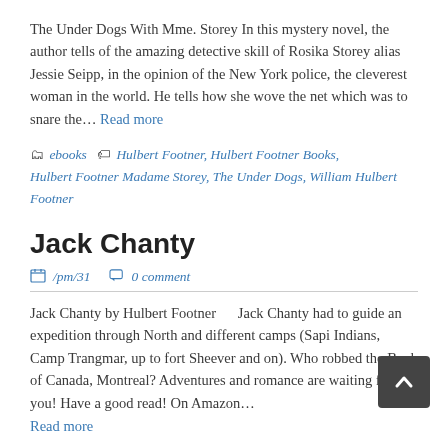The Under Dogs With Mme. Storey In this mystery novel, the author tells of the amazing detective skill of Rosika Storey alias Jessie Seipp, in the opinion of the New York police, the cleverest woman in the world. He tells how she wove the net which was to snare the… Read more
ebooks  Hulbert Footner, Hulbert Footner Books, Hulbert Footner Madame Storey, The Under Dogs, William Hulbert Footner
Jack Chanty
/pm/31  0 comment
Jack Chanty by Hulbert Footner     Jack Chanty had to guide an expedition through North and different camps (Sapi Indians, Camp Trangmar, up to fort Sheever and on). Who robbed the Bank of Canada, Montreal? Adventures and romance are waiting for you! Have a good read! On Amazon…
Read more